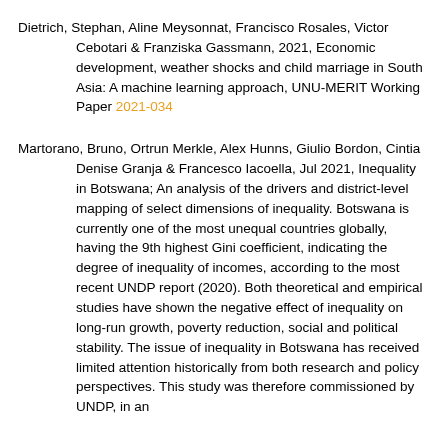Dietrich, Stephan, Aline Meysonnat, Francisco Rosales, Victor Cebotari & Franziska Gassmann, 2021, Economic development, weather shocks and child marriage in South Asia: A machine learning approach, UNU-MERIT Working Paper 2021-034
Martorano, Bruno, Ortrun Merkle, Alex Hunns, Giulio Bordon, Cintia Denise Granja & Francesco Iacoella, Jul 2021, Inequality in Botswana; An analysis of the drivers and district-level mapping of select dimensions of inequality. Botswana is currently one of the most unequal countries globally, having the 9th highest Gini coefficient, indicating the degree of inequality of incomes, according to the most recent UNDP report (2020). Both theoretical and empirical studies have shown the negative effect of inequality on long-run growth, poverty reduction, social and political stability. The issue of inequality in Botswana has received limited attention historically from both research and policy perspectives. This study was therefore commissioned by UNDP, in an